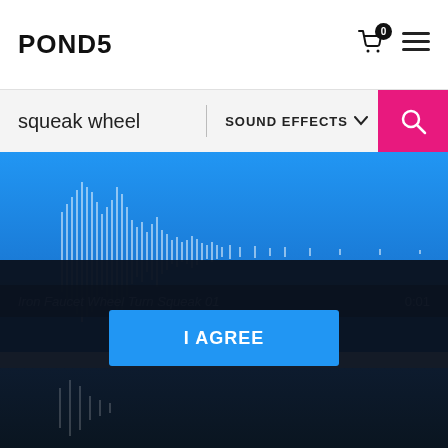POND5
squeak wheel | SOUND EFFECTS
[Figure (other): Audio waveform visualization on blue gradient background for 'Iron Faucet Wheel Turn Squeak 01', duration 0:01]
Iron Faucet Wheel Turn Squeak 01   0:01
By clicking I AGREE, you consent to the Pond5 Terms of Use and Privacy Policy. This includes the use of personal data and cookies to enhance site usage and enable personalized ads. See our Policy to change cookie preferences on your device.
I AGREE